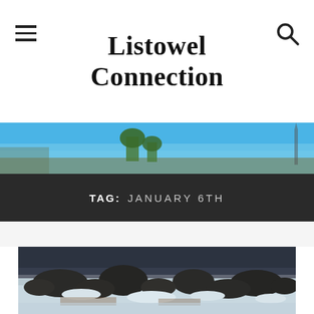Listowel Connection
[Figure (photo): Partial view of a town street with blue sky and trees, used as a website header banner]
TAG: JANUARY 6TH
[Figure (photo): Rocky shoreline in winter with ice and snow covering the ground between dark rocks, overcast sky in the background]